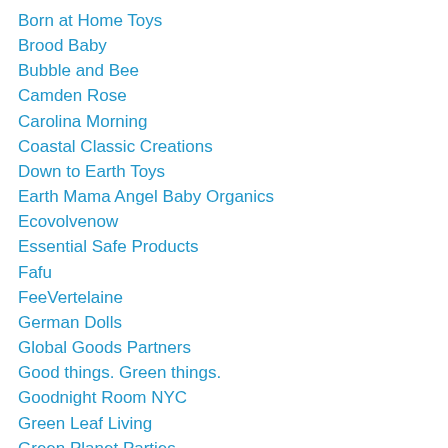Born at Home Toys
Brood Baby
Bubble and Bee
Camden Rose
Carolina Morning
Coastal Classic Creations
Down to Earth Toys
Earth Mama Angel Baby Organics
Ecovolvenow
Essential Safe Products
Fafu
FeeVertelaine
German Dolls
Global Goods Partners
Good things. Green things.
Goodnight Room NYC
Green Leaf Living
Green Planet Parties
Gypsy Forest
Handmaiden Canada